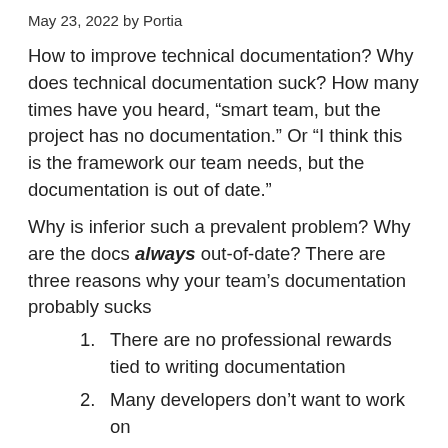May 23, 2022 by Portia
How to improve technical documentation? Why does technical documentation suck? How many times have you heard, “smart team, but the project has no documentation.” Or “I think this is the framework our team needs, but the documentation is out of date.”
Why is inferior such a prevalent problem? Why are the docs always out-of-date? There are three reasons why your team’s documentation probably sucks
There are no professional rewards tied to writing documentation
Many developers don’t want to work on